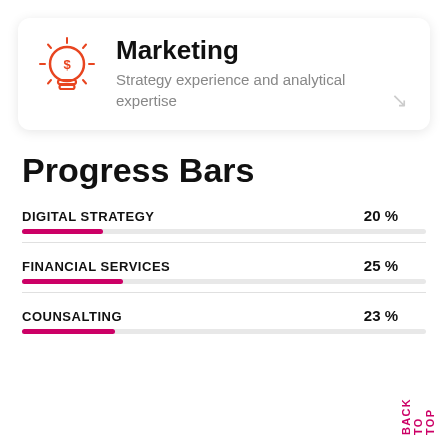[Figure (illustration): Orange lightbulb icon with dollar sign inside, representing marketing/finance concept]
Marketing
Strategy experience and analytical expertise
Progress Bars
DIGITAL STRATEGY   20 %
FINANCIAL SERVICES   25 %
COUNSALTING   23 %